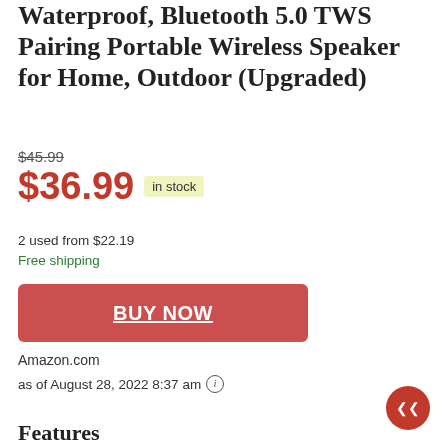Waterproof, Bluetooth 5.0 TWS Pairing Portable Wireless Speaker for Home, Outdoor (Upgraded)
$45.99
$36.99 in stock
2 used from $22.19
Free shipping
BUY NOW
Amazon.com
as of August 28, 2022 8:37 am
Features